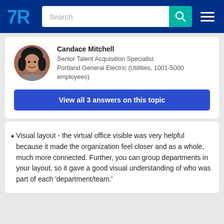TrustRadius navigation bar with logo, search, and menu
Candace Mitchell
Senior Talent Acquisition Specialist
Portland General Electric (Utilities, 1001-5000 employees)
View all 3 answers on this topic
Visual layout - the virtual office visible was very helpful because it made the organization feel closer and as a whole, much more connected. Further, you can group departments in your layout, so it gave a good visual understanding of who was part of each 'department/team.'